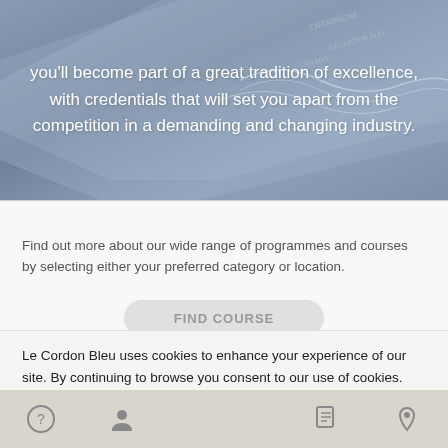[Figure (photo): Blue-grey toned photo of a diploma or certificate with decorative metallic embossed detailing, partially visible against a light blue-grey surface]
you'll become part of a great tradition of excellence, with credentials that will set you apart from the competition in a demanding and changing industry.
Find out more about our wide range of programmes and courses by selecting either your preferred category or location.
Le Cordon Bleu uses cookies to enhance your experience of our site. By continuing to browse you consent to our use of cookies. Find out more
I Agree